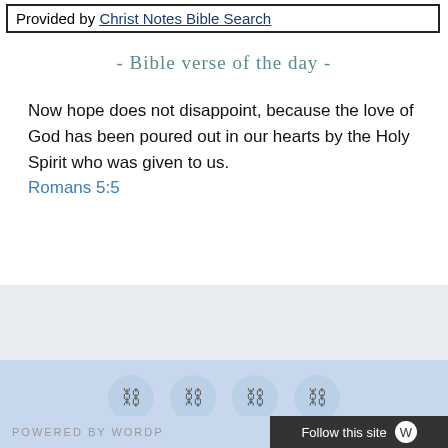Provided by Christ Notes Bible Search
- Bible verse of the day -
Now hope does not disappoint, because the love of God has been poured out in our hearts by the Holy Spirit who was given to us.
Romans 5:5
[Figure (illustration): Four circular chain-link social media icons in a row on a light blue background]
POWERED BY WORDPRESS   Follow this site